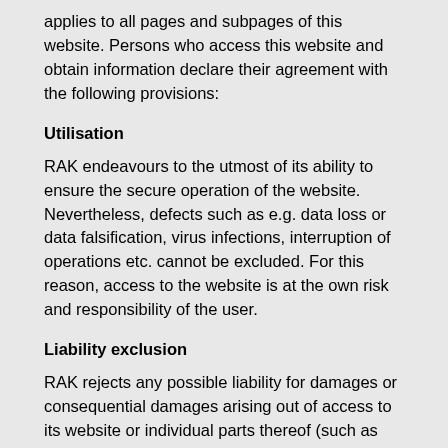applies to all pages and subpages of this website. Persons who access this website and obtain information declare their agreement with the following provisions:
Utilisation
RAK endeavours to the utmost of its ability to ensure the secure operation of the website. Nevertheless, defects such as e.g. data loss or data falsification, virus infections, interruption of operations etc. cannot be excluded. For this reason, access to the website is at the own risk and responsibility of the user.
Liability exclusion
RAK rejects any possible liability for damages or consequential damages arising out of access to its website or individual parts thereof (such as e.g. downloaded documents), their utilisation (or the